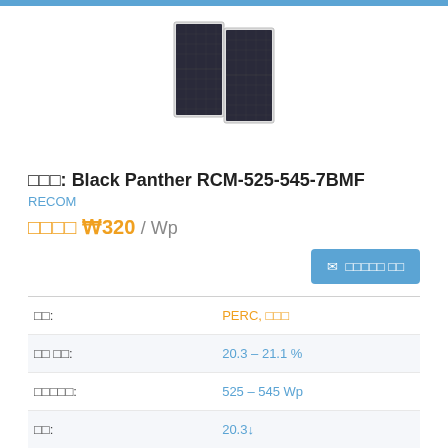[Figure (photo): Solar panel product image - Black Panther RCM-525-545-7BMF module shown from front angle]
□□□: Black Panther RCM-525-545-7BMF
RECOM
□□□□□ ₩320 / Wp
□□□□□□ □□
| □□ | □□□ |
| --- | --- |
| □□: | PERC, □□□ |
| □□ □□: | 20.3 – 21.1 % |
| □□□□□: | 525 – 545 Wp |
| □□: | 20.3↓ |